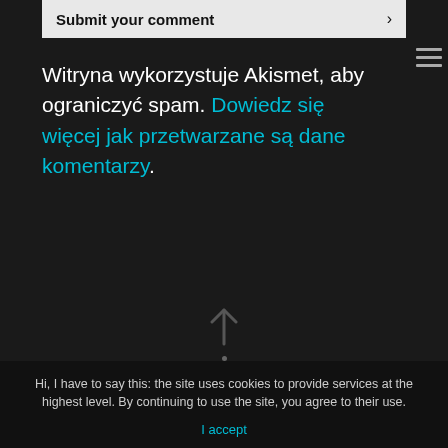Submit your comment ›
Witryna wykorzystuje Akismet, aby ograniczyć spam. Dowiedz się więcej jak przetwarzane są dane komentarzy.
Hi, I have to say this: the site uses cookies to provide services at the highest level. By continuing to use the site, you agree to their use.
I accept